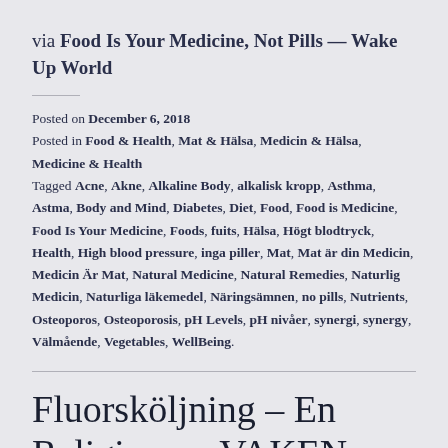via Food Is Your Medicine, Not Pills — Wake Up World
Posted on December 6, 2018
Posted in Food & Health, Mat & Hälsa, Medicin & Hälsa, Medicine & Health
Tagged Acne, Akne, Alkaline Body, alkalisk kropp, Asthma, Astma, Body and Mind, Diabetes, Diet, Food, Food is Medicine, Food Is Your Medicine, Foods, fuits, Hälsa, Högt blodtryck, Health, High blood pressure, inga piller, Mat, Mat är din Medicin, Medicin Är Mat, Natural Medicine, Natural Remedies, Naturlig Medicin, Naturliga läkemedel, Näringsämnen, no pills, Nutrients, Osteoporos, Osteoporosis, pH Levels, pH nivåer, synergi, synergy, Välmående, Vegetables, WellBeing.
Fluorsköljning – En Religion — VAKEN.se – 14